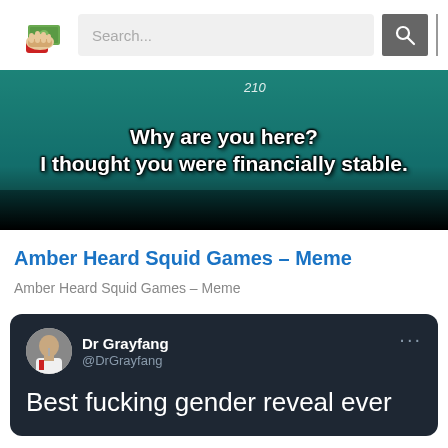[Figure (screenshot): Website header with logo (hand holding money), search bar, search button, and divider line]
[Figure (photo): Squid Game meme image with teal/green background showing number '210'. Text overlay reads: 'Why are you here? I thought you were financially stable.']
Amber Heard Squid Games – Meme
Amber Heard Squid Games – Meme
[Figure (screenshot): Dark-themed tweet card from Dr Grayfang (@DrGrayfang) reading 'Best fucking gender reveal ever']